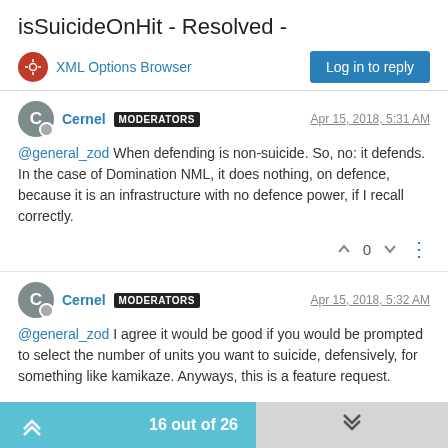isSuicideOnHit - Resolved -
XML Options Browser
Log in to reply
Cernel MODERATORS Apr 15, 2018, 5:31 AM
@general_zod When defending is non-suicide. So, no: it defends. In the case of Domination NML, it does nothing, on defence, because it is an infrastructure with no defence power, if I recall correctly.
0
Cernel MODERATORS Apr 15, 2018, 5:32 AM
@general_zod I agree it would be good if you would be prompted to select the number of units you want to suicide, defensively, for something like kamikaze. Anyways, this is a feature request.
16 out of 26